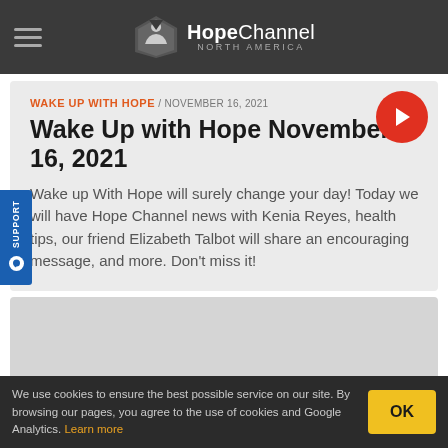HopeChannel NORTH AMERICA
WAKE UP WITH HOPE / NOVEMBER 16, 2021
Wake Up with Hope November 16, 2021
Wake up With Hope will surely change your day! Today we will have Hope Channel news with Kenia Reyes, health tips, our friend Elizabeth Talbot will share an encouraging message, and more. Don't miss it!
[Figure (other): Gray placeholder card area]
We use cookies to ensure the best possible service on our site. By browsing our pages, you agree to the use of cookies and Google Analytics. Learn more